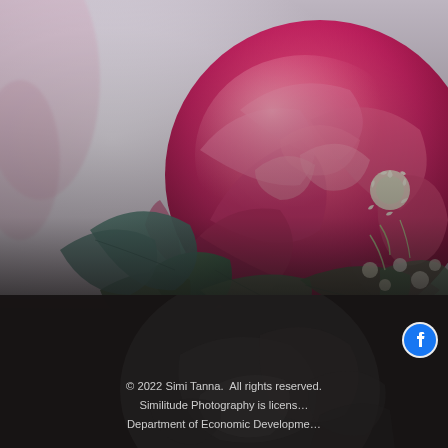[Figure (photo): Close-up photograph of a large pink rose flower in full bloom, surrounded by green leaves and small white thistle-like flowers. The background is blurred white/light grey with a soft bokeh effect. The lower portion transitions to a dark background with a subtle dark rose shadow overlay.]
[Figure (logo): Facebook logo icon — white 'f' letter on a dark circular background, positioned in the lower right area.]
© 2022 Simi Tanna.  All rights reserved.
Similitude Photography is licens…
Department of Economic Developme…